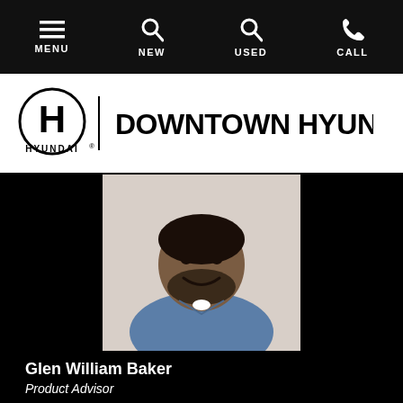MENU  NEW  USED  CALL
[Figure (logo): Hyundai logo with text 'HYUNDAI' and vertical bar followed by 'DOWNTOWN HYUNDAI']
[Figure (photo): Headshot photo of Glen William Baker, a man in a blue polo shirt, smiling, against a light background]
Glen William Baker
Product Advisor